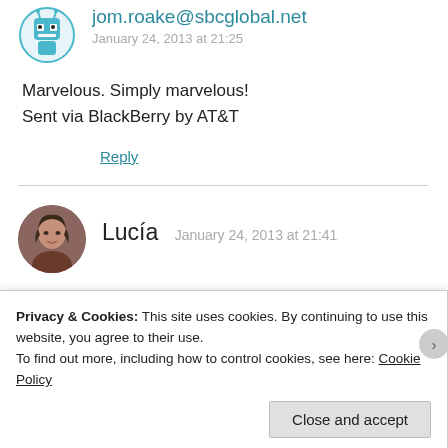jom.roake@sbcglobal.net
January 24, 2013 at 21:25
Marvelous. Simply marvelous!
Sent via BlackBerry by AT&T
Reply
Lucía  January 24, 2013 at 21:41
Dear Maestro. I love you. With all my heart and soul and my little possesions. God Bless You always. From Mexico, with love, Lucia.
Privacy & Cookies: This site uses cookies. By continuing to use this website, you agree to their use.
To find out more, including how to control cookies, see here: Cookie Policy
Close and accept